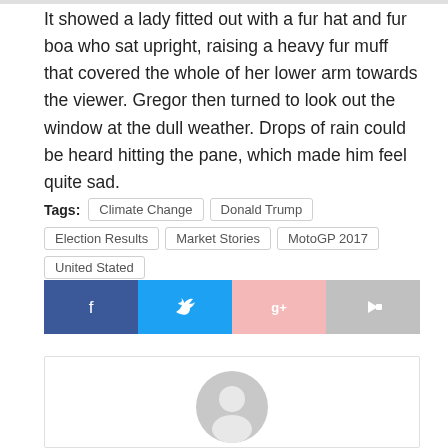illustrated magazine and housed in a nice, gilded frame.
It showed a lady fitted out with a fur hat and fur boa who sat upright, raising a heavy fur muff that covered the whole of her lower arm towards the viewer. Gregor then turned to look out the window at the dull weather. Drops of rain could be heard hitting the pane, which made him feel quite sad.
Tags: Climate Change  Donald Trump  Election Results  Market Stories  MotoGP 2017  United Stated
[Figure (infographic): Social share buttons: Facebook (dark blue), Twitter (light blue), Google+ (light pink), Forward/share (grey)]
[Figure (illustration): Comment section box with a grey placeholder avatar icon (person silhouette)]